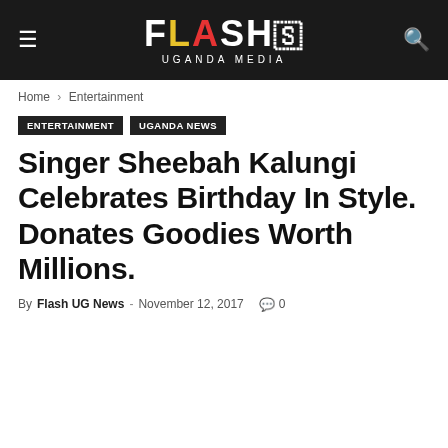Flash Uganda Media
Home › Entertainment
ENTERTAINMENT
UGANDA NEWS
Singer Sheebah Kalungi Celebrates Birthday In Style. Donates Goodies Worth Millions.
By Flash UG News - November 12, 2017  0